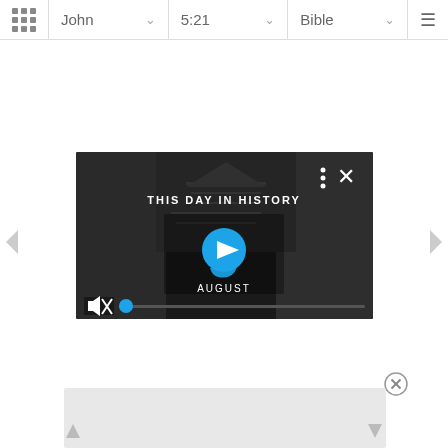[Figure (screenshot): Bible app navigation bar with grid icon, John book selector, 5:21 verse selector, Bible version selector, and hamburger menu]
[Figure (screenshot): Video player showing 'This Day In History' with play button overlay showing number 9 and text AUGUST, mute button, progress bar with blue dot, three-dot menu, and X close button. Background shows black and white historical photos.]